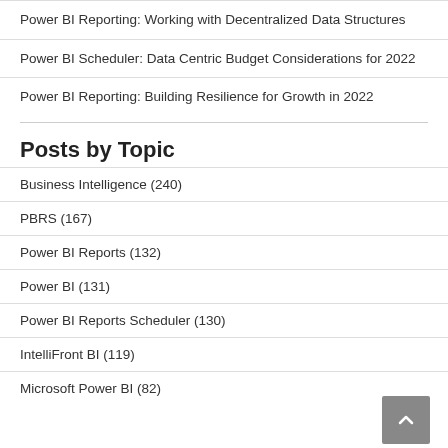Power BI Reporting: Working with Decentralized Data Structures
Power BI Scheduler: Data Centric Budget Considerations for 2022
Power BI Reporting: Building Resilience for Growth in 2022
Posts by Topic
Business Intelligence (240)
PBRS (167)
Power BI Reports (132)
Power BI (131)
Power BI Reports Scheduler (130)
IntelliFront BI (119)
Microsoft Power BI (82)